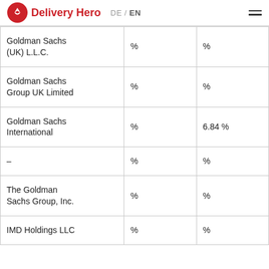Delivery Hero  DE / EN
| Goldman Sachs (UK) L.L.C. | % | % |
| Goldman Sachs Group UK Limited | % | % |
| Goldman Sachs International | % | 6.84 % |
| – | % | % |
| The Goldman Sachs Group, Inc. | % | % |
| IMD Holdings LLC | % | % |